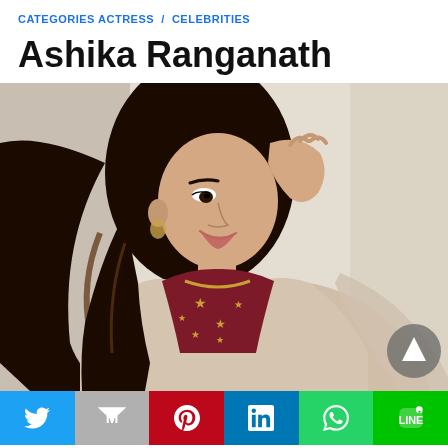CATEGORIES ACTRESS / CELEBRITIES
Ashika Ranganath
[Figure (photo): Photo of Ashika Ranganath, a young Indian actress with long wavy dark hair, smiling and wearing a maroon top with gold star embroidery and a beige shrug/dupatta, posed with her hand near her head against a light wall background.]
Social sharing bar with Twitter, Gmail, Pinterest, LinkedIn, WhatsApp, and LINE buttons